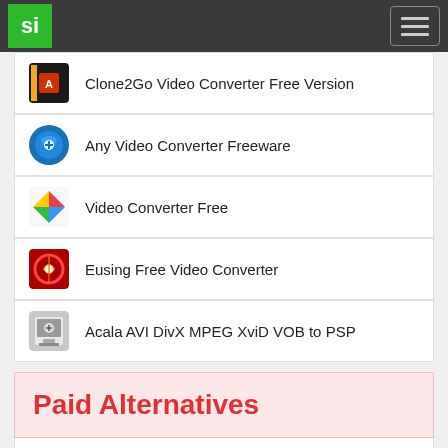si [logo] [hamburger menu]
Clone2Go Video Converter Free Version
Any Video Converter Freeware
Video Converter Free
Eusing Free Video Converter
Acala AVI DivX MPEG XviD VOB to PSP
Paid Alternatives
Clone2Go DVD to 3GP Converter
Clone2Go DVD to BlackBerry Converter
Clone2Go DVD to iPhone Converter